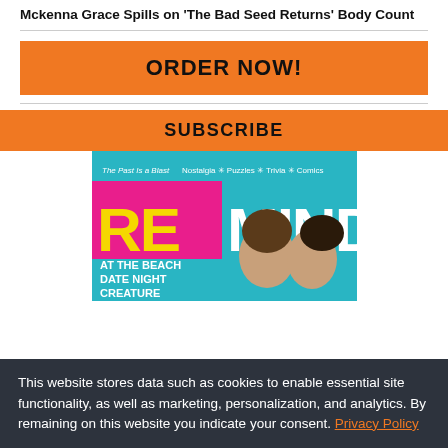Mckenna Grace Spills on 'The Bad Seed Returns' Body Count
[Figure (other): Orange ORDER NOW! button banner]
[Figure (other): Orange SUBSCRIBE banner with Remind magazine cover image showing two people and text: The Past Is a Blast, Nostalgia, Puzzles, Trivia, Comics, AT THE BEACH DATE NIGHT CREATURE]
This website stores data such as cookies to enable essential site functionality, as well as marketing, personalization, and analytics. By remaining on this website you indicate your consent. Privacy Policy